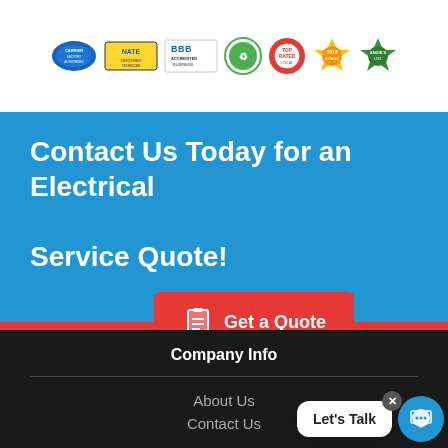[Figure (logo): Row of 7 certification/accreditation badge logos including BBB Accredited Business, NATE certified, green/eco badges, and award badges]
Contact Us Today for an Electrical Service Quote!
[Figure (other): Red button with clipboard icon and text 'Get a Quote']
Company Info
About Us
Contact Us
[Figure (other): Chat bubble saying 'Let's Talk' with close X button and blue chat circle icon]